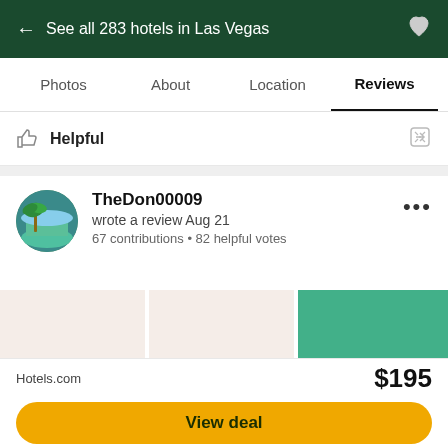← See all 283 hotels in Las Vegas
Photos  About  Location  Reviews
Helpful
TheDon00009
wrote a review Aug 21
67 contributions • 82 helpful votes
[Figure (photo): Three photo thumbnails: two light pink placeholder images and one teal overlay showing +1]
Hotels.com   $195
View deal